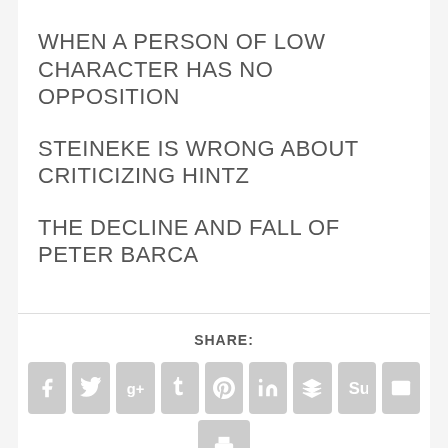WHEN A PERSON OF LOW CHARACTER HAS NO OPPOSITION
STEINEKE IS WRONG ABOUT CRITICIZING HINTZ
THE DECLINE AND FALL OF PETER BARCA
SHARE:
[Figure (infographic): Row of 9 social share icon buttons (Facebook, Twitter, Google+, Tumblr, Pinterest, LinkedIn, Buffer/layers, StumbleUpon, Email) in light grey rounded square buttons, plus a second row with one print icon button.]